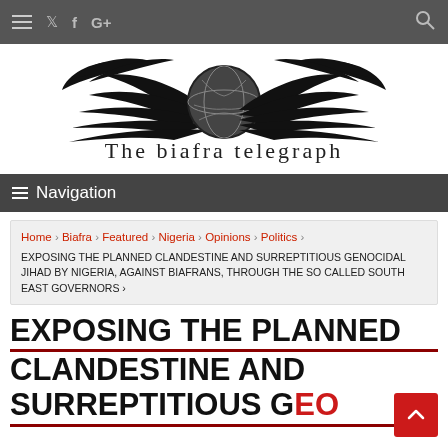≡ 🐦 f G+ 🔍
[Figure (logo): The biafra telegraph logo: winged globe with text 'The biafra telegraph']
≡ Navigation
Home › Biafra › Featured › Nigeria › Opinions › Politics › EXPOSING THE PLANNED CLANDESTINE AND SURREPTITIOUS GENOCIDAL JIHAD BY NIGERIA, AGAINST BIAFRANS, THROUGH THE SO CALLED SOUTH EAST GOVERNORS ›
EXPOSING THE PLANNED CLANDESTINE AND SURREPTITIOUS GENOCIDAL JIHAD…